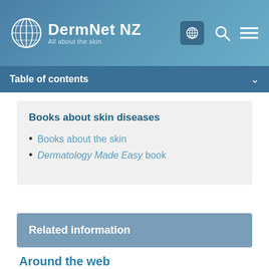DermNet NZ — All about the skin
Table of contents
Books about skin diseases
Books about the skin
Dermatology Made Easy book
Related information
Around the web